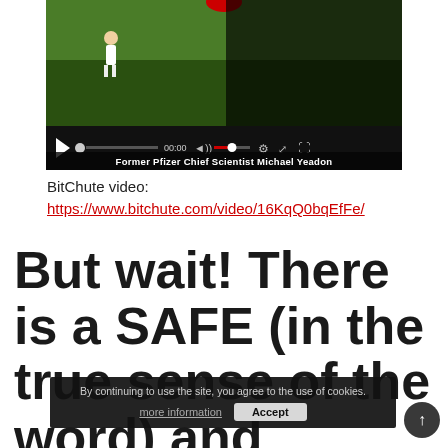[Figure (screenshot): Embedded video player (BitChute/YouTube style) showing a person on a green background with controls bar and caption 'Former Pfizer Chief Scientist Michael Yeadon']
BitChute video:
https://www.bitchute.com/video/16KqQ0bqEfFe/
But wait! There is a SAFE (in the true sense of the word) and EFFECTIVE (in the
By continuing to use the site, you agree to the use of cookies.
more information   Accept